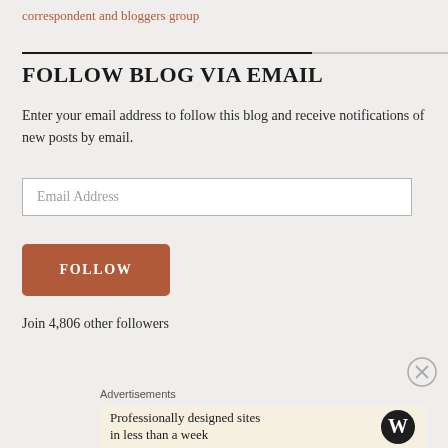correspondent and bloggers group
FOLLOW BLOG VIA EMAIL
Enter your email address to follow this blog and receive notifications of new posts by email.
Email Address
FOLLOW
Join 4,806 other followers
Advertisements
Professionally designed sites in less than a week